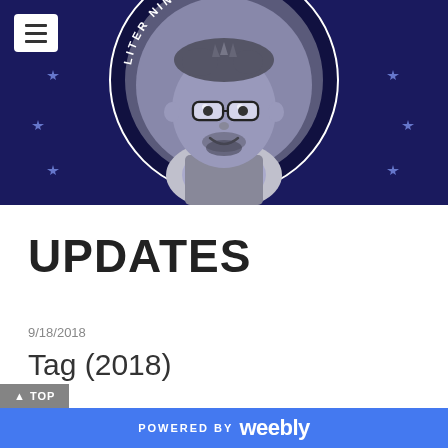[Figure (illustration): Website header banner with dark navy blue background featuring a cartoon/illustrated portrait of a man with glasses and beard in a circular badge/logo design with stars and text reading 'LITER...NING' around the edge. A hamburger menu button is in the top left corner.]
UPDATES
9/18/2018
Tag (2018)
POWERED BY weebly